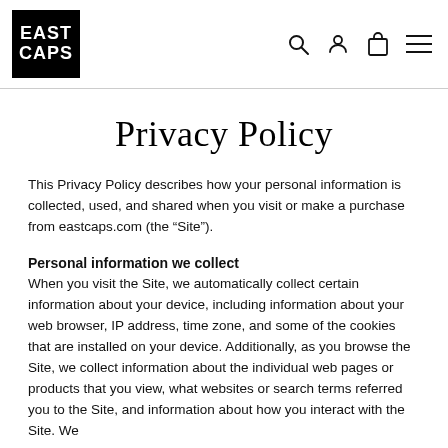EAST CAPS
Privacy Policy
This Privacy Policy describes how your personal information is collected, used, and shared when you visit or make a purchase from eastcaps.com (the “Site”).
Personal information we collect
When you visit the Site, we automatically collect certain information about your device, including information about your web browser, IP address, time zone, and some of the cookies that are installed on your device. Additionally, as you browse the Site, we collect information about the individual web pages or products that you view, what websites or search terms referred you to the Site, and information about how you interact with the Site. We